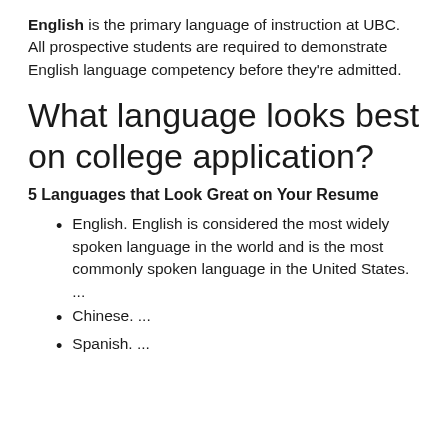English is the primary language of instruction at UBC. All prospective students are required to demonstrate English language competency before they're admitted.
What language looks best on college application?
5 Languages that Look Great on Your Resume
English. English is considered the most widely spoken language in the world and is the most commonly spoken language in the United States. ...
Chinese. ...
Spanish. ...